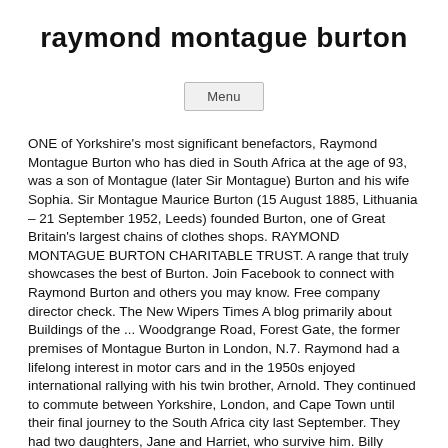raymond montague burton
Menu
ONE of Yorkshire's most significant benefactors, Raymond Montague Burton who has died in South Africa at the age of 93, was a son of Montague (later Sir Montague) Burton and his wife Sophia. Sir Montague Maurice Burton (15 August 1885, Lithuania – 21 September 1952, Leeds) founded Burton, one of Great Britain's largest chains of clothes shops. RAYMOND MONTAGUE BURTON CHARITABLE TRUST. A range that truly showcases the best of Burton. Join Facebook to connect with Raymond Burton and others you may know. Free company director check. The New Wipers Times A blog primarily about Buildings of the ... Woodgrange Road, Forest Gate, the former premises of Montague Burton in London, N.7. Raymond had a lifelong interest in motor cars and in the 1950s enjoyed international rallying with his twin brother, Arnold. They continued to commute between Yorkshire, London, and Cape Town until their final journey to the South Africa city last September. They had two daughters, Jane and Harriet, who survive him. Billy Raymond Burton was born in London, England, the UK on October 4, 2003.; His age is just 16 years old as within a month's time period he will be in his 17.; Being from a famous family background he isn't yet available on Instagram as he ought to stay away from all